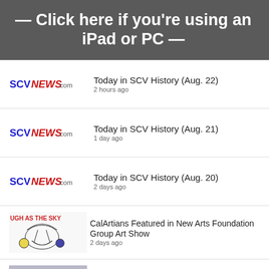— Click here if you're using an iPad or PC —
Today in SCV History (Aug. 22)
2 hours ago
Today in SCV History (Aug. 21)
1 day ago
Today in SCV History (Aug. 20)
2 days ago
CalArtians Featured in New Arts Foundation Group Art Show
2 days ago
Randy Wicks Collection Donated to SCV Historical Society
2 days ago